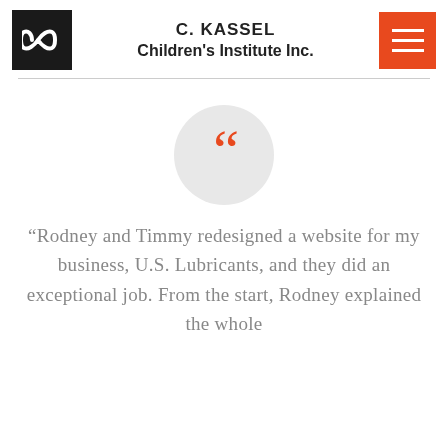C. KASSEL
Children's Institute Inc.
[Figure (logo): Black square logo with white infinity symbol]
[Figure (other): Orange hamburger menu button with three white horizontal lines]
[Figure (other): Light gray circle with orange open quotation marks (66) in the center]
“Rodney and Timmy redesigned a website for my business, U.S. Lubricants, and they did an exceptional job. From the start, Rodney explained the whole